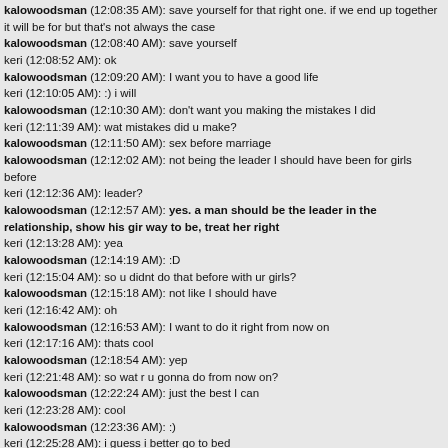kalowoodsman (12:08:35 AM): save yourself for that right one. if we end up together it will be for but that's not always the case
kalowoodsman (12:08:40 AM): save yourself
keri (12:08:52 AM): ok
kalowoodsman (12:09:20 AM): I want you to have a good life
keri (12:10:05 AM): :) i will
kalowoodsman (12:10:30 AM): don't want you making the mistakes I did
keri (12:11:39 AM): wat mistakes did u make?
kalowoodsman (12:11:50 AM): sex before marriage
kalowoodsman (12:12:02 AM): not being the leader I should have been for girls before
keri (12:12:36 AM): leader?
kalowoodsman (12:12:57 AM): yes. a man should be the leader in the relationship, show his gir way to be, treat her right
keri (12:13:28 AM): yea
kalowoodsman (12:14:19 AM): :D
keri (12:15:04 AM): so u didnt do that before with ur girls?
kalowoodsman (12:15:18 AM): not like I should have
keri (12:16:42 AM): oh
kalowoodsman (12:16:53 AM): I want to do it right from now on
keri (12:17:16 AM): thats cool
kalowoodsman (12:18:54 AM): yep
keri (12:21:48 AM): so wat r u gonna do from now on?
kalowoodsman (12:22:24 AM): just the best I can
keri (12:23:28 AM): cool
kalowoodsman (12:23:36 AM): :)
keri (12:25:28 AM): i guess i better go to bed
kalowoodsman (12:25:34 AM): sweet dreams hun
keri (12:25:37 AM): nite
kalowoodsman (12:26:17 AM): :-*
kalowoodsman (5:46:02 PM): boo
keri (5:46:17 PM): haha boo back
kalowoodsman (5:46:34 PM): you should hit up trophy scars page, they put a really good song back
keri (5:46:47 PM): kk cool
keri (5:48:35 PM): ty that is really cool
kalowoodsman (5:49:04 PM): :)
keri (5:50:03 PM): just saw ther bulletin bout that